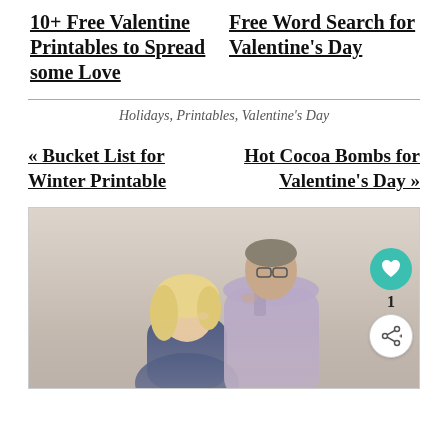10+ Free Valentine Printables to Spread some Love
Free Word Search for Valentine's Day
Holidays, Printables, Valentine's Day
« Bucket List for Winter Printable
Hot Cocoa Bombs for Valentine's Day »
[Figure (photo): A couple embracing — a man with glasses kissing a blonde woman's head; woman in dark sparkly top, man in light purple shirt; warm neutral background]